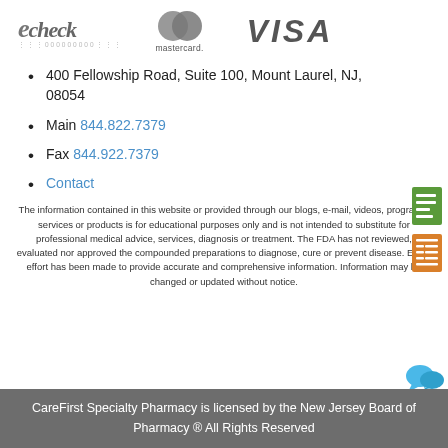[Figure (logo): Payment method logos: echeck, mastercard, VISA]
400 Fellowship Road, Suite 100, Mount Laurel, NJ, 08054
Main 844.822.7379
Fax 844.922.7379
Contact
[Figure (illustration): Sidebar icons: green list/notes icon, orange form/checklist icon, blue chat bubbles icon]
The information contained in this website or provided through our blogs, e-mail, videos, programs, services or products is for educational purposes only and is not intended to substitute for professional medical advice, services, diagnosis or treatment. The FDA has not reviewed, evaluated nor approved the compounded preparations to diagnose, cure or prevent disease. Every effort has been made to provide accurate and comprehensive information. Information may be changed or updated without notice.
CareFirst Specialty Pharmacy is licensed by the New Jersey Board of Pharmacy ® All Rights Reserved